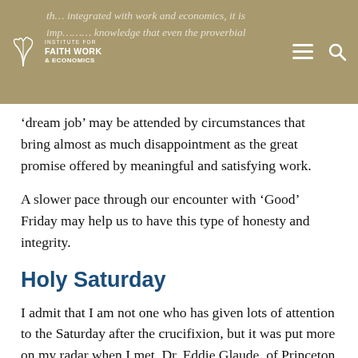Institute for Faith Work & Economics (logo) — navigation header with overlaid faded text about work and economics integration
'dream job' may be attended by circumstances that bring almost as much disappointment as the great promise offered by meaningful and satisfying work.
A slower pace through our encounter with 'Good' Friday may help us to have this type of honesty and integrity.
Holy Saturday
I admit that I am not one who has given lots of attention to the Saturday after the crucifixion, but it was put more on my radar when I met Dr. Eddie Glaude of Princeton University.